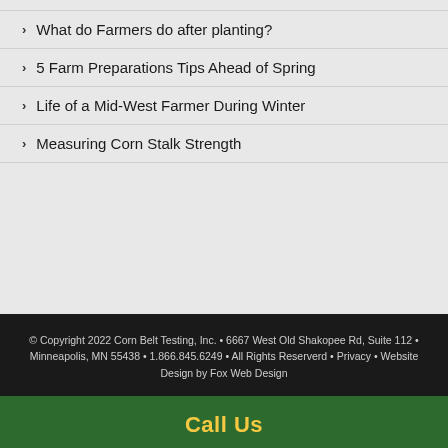What do Farmers do after planting?
5 Farm Preparations Tips Ahead of Spring
Life of a Mid-West Farmer During Winter
Measuring Corn Stalk Strength
© Copyright 2022 Corn Belt Testing, Inc. • 6667 West Old Shakopee Rd, Suite 112 • Minneapolis, MN 55438 • 1.866.845.6249 • All Rights Reserverd • Privacy • Website Design by Fox Web Design
Call Us